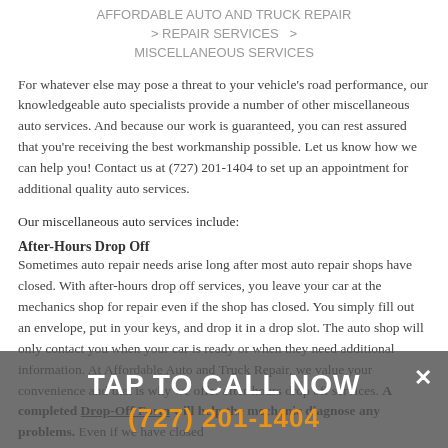AFFORDABLE AUTO AND TRUCK REPAIR > REPAIR SERVICES > MISCELLANEOUS SERVICES
For whatever else may pose a threat to your vehicle's road performance, our knowledgeable auto specialists provide a number of other miscellaneous auto services. And because our work is guaranteed, you can rest assured that you're receiving the best workmanship possible. Let us know how we can help you! Contact us at (727) 201-1404 to set up an appointment for additional quality auto services.
Our miscellaneous auto services include:
After-Hours Drop Off
Sometimes auto repair needs arise long after most auto repair shops have closed. With after-hours drop off services, you leave your car at the mechanics shop for repair even if the shop has closed. You simply fill out an envelope, put in your keys, and drop it in a drop slot. The auto shop will only contact you when your car is ready or when they need additional information. At Affordable Auto and Truck Repair, we value your convenience and that is why we offer after-hours drop off services. A completed Drop-Off Form will help the mechanic diagnose any problems. Even if we have closed...
TAP TO CALL NOW
(727) 201-1404